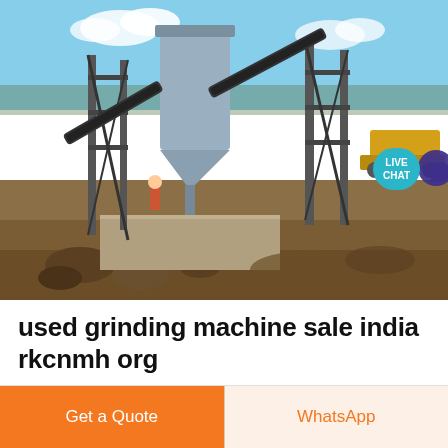[Figure (photo): Industrial grinding/mining machinery at a construction or quarry site, showing steel frame structures, conveyor belts, a hopper/silo, and construction equipment in the background under a blue sky. A 'LIVE CHAT' badge with a speech bubble icon is overlaid in the top-right corner.]
used grinding machine sale india rkcnmh org
India Used Roll Grinding Machine India Used Roll Grinding Machine Suppliers and Manufacturers Directory Ball Mill For Sale India Used Ball Mill Grinder Machine ...
Get a Quote | WhatsApp